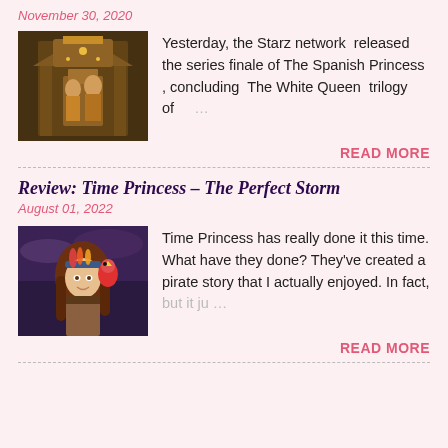November 30, 2020
[Figure (photo): Ornate golden throne room scene with figures in elaborate costumes, from The Spanish Princess TV series]
Yesterday, the Starz network released the series finale of The Spanish Princess , concluding The White Queen trilogy of …
READ MORE
Review: Time Princess – The Perfect Storm
August 01, 2022
[Figure (photo): Illustrated young woman with long brown hair wearing a headband with feathers, a red parrot on her shoulder, in a pirate/adventure style — Time Princess game art]
Time Princess has really done it this time. What have they done? They've created a pirate story that I actually enjoyed. In fact, but it ju …
READ MORE